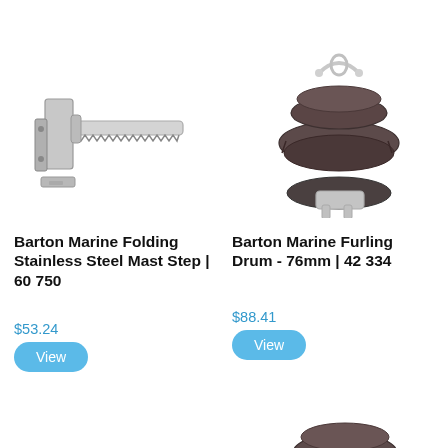[Figure (photo): Barton Marine Folding Stainless Steel Mast Step hardware component, silver/chrome finish, wall-mounted bracket with horizontal step bar]
Barton Marine Folding Stainless Steel Mast Step | 60 750
$53.24
View
[Figure (photo): Barton Marine Furling Drum 76mm, dark brown/black plastic and stainless steel sailing hardware component]
Barton Marine Furling Drum - 76mm | 42 334
$88.41
View
[Figure (photo): Partial view of another Barton Marine dark-colored sailing hardware component at bottom right of page]